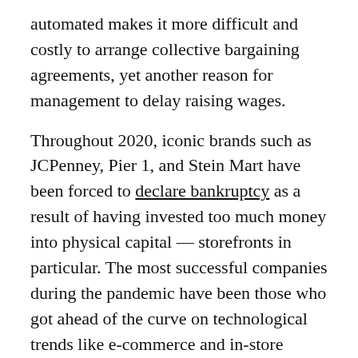automated makes it more difficult and costly to arrange collective bargaining agreements, yet another reason for management to delay raising wages.
Throughout 2020, iconic brands such as JCPenney, Pier 1, and Stein Mart have been forced to declare bankruptcy as a result of having invested too much money into physical capital — storefronts in particular. The most successful companies during the pandemic have been those who got ahead of the curve on technological trends like e-commerce and in-store pickup. While some bankrupt corporations will live on, either with fewer stores or as another company's portfolio brand, the pandemic has proven disastrous for small businesses. Employing around half of the private sector, small businesses are much less likely to have the capital necessary to survive such an extreme